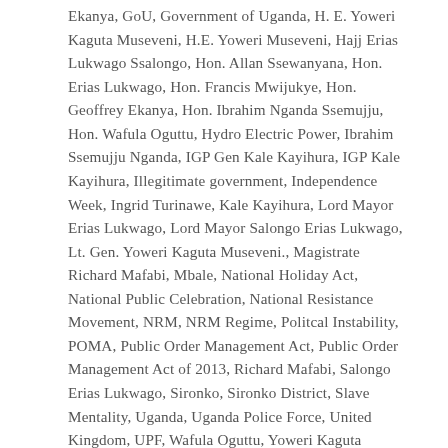Ekanya, GoU, Government of Uganda, H. E. Yoweri Kaguta Museveni, H.E. Yoweri Museveni, Hajj Erias Lukwago Ssalongo, Hon. Allan Ssewanyana, Hon. Erias Lukwago, Hon. Francis Mwijukye, Hon. Geoffrey Ekanya, Hon. Ibrahim Nganda Ssemujju, Hon. Wafula Oguttu, Hydro Electric Power, Ibrahim Ssemujju Nganda, IGP Gen Kale Kayihura, IGP Kale Kayihura, Illegitimate government, Independence Week, Ingrid Turinawe, Kale Kayihura, Lord Mayor Erias Lukwago, Lord Mayor Salongo Erias Lukwago, Lt. Gen. Yoweri Kaguta Museveni., Magistrate Richard Mafabi, Mbale, National Holiday Act, National Public Celebration, National Resistance Movement, NRM, NRM Regime, Politcal Instability, POMA, Public Order Management Act, Public Order Management Act of 2013, Richard Mafabi, Salongo Erias Lukwago, Sironko, Sironko District, Slave Mentality, Uganda, Uganda Police Force, United Kingdom, UPF, Wafula Oguttu, Yoweri Kaguta Museveni, Yoweri Museveni  /  Leave a comment